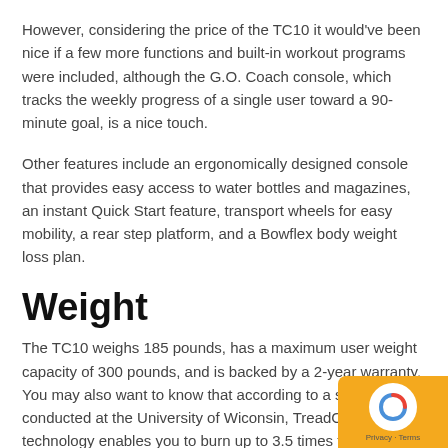However, considering the price of the TC10 it would've been nice if a few more functions and built-in workout programs were included, although the G.O. Coach console, which tracks the weekly progress of a single user toward a 90-minute goal, is a nice touch.
Other features include an ergonomically designed console that provides easy access to water bottles and magazines, an instant Quick Start feature, transport wheels for easy mobility, a rear step platform, and a Bowflex body weight loss plan.
Weight
The TC10 weighs 185 pounds, has a maximum user weight capacity of 300 pounds, and is backed by a 2-year warranty. You may also want to know that according to a study conducted at the University of Wiconsin, TreadClimber technology enables you to burn up to 3.5 times the calories as other cardio machines.
Bowflex TreadClimber TC1… Reviews from users